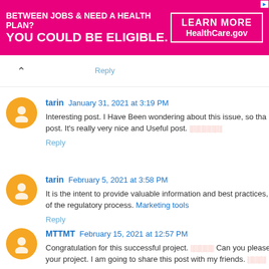[Figure (other): Advertisement banner: pink background with text 'BETWEEN JOBS & NEED A HEALTH PLAN? YOU COULD BE ELIGIBLE.' and 'LEARN MORE HealthCare.gov']
Reply
tarin  January 31, 2021 at 3:19 PM
Interesting post. I Have Been wondering about this issue, so tha post. It's really very nice and Useful post. ░░░░░░░
Reply
tarin  February 5, 2021 at 3:58 PM
It is the intent to provide valuable information and best practices, of the regulatory process. Marketing tools
Reply
MTTMT  February 15, 2021 at 12:57 PM
Congratulation for this successful project. ░░░░░ Can you please your project. I am going to share this post with my friends. ░░░░
Reply